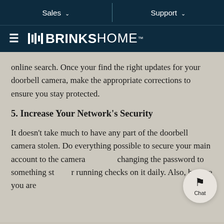Sales   |   Support
BRINKS HOME
online search. Once your find the right updates for your doorbell camera, make the appropriate corrections to ensure you stay protected.
5. Increase Your Network's Security
It doesn't take much to have any part of the doorbell camera stolen. Do everything possible to secure your main account to the camera by changing the password to something strong, running checks on it daily. Also, be sure you are